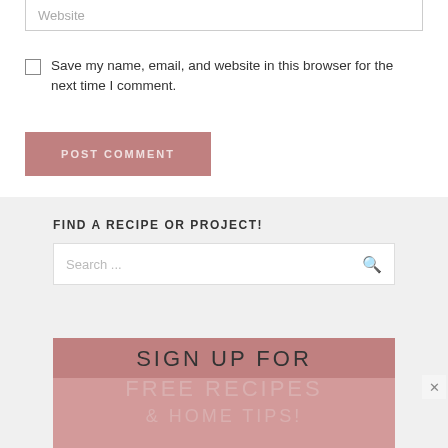Website
Save my name, email, and website in this browser for the next time I comment.
POST COMMENT
FIND A RECIPE OR PROJECT!
Search ...
SIGN UP FOR FREE RECIPES & HOME TIPS!